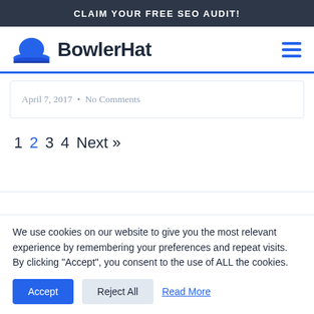CLAIM YOUR FREE SEO AUDIT!
[Figure (logo): BowlerHat logo with blue bowler hat icon and bold dark text 'BowlerHat']
April 7, 2017 • No Comments
1  2  3  4  Next »
We use cookies on our website to give you the most relevant experience by remembering your preferences and repeat visits. By clicking "Accept", you consent to the use of ALL the cookies.
Accept  Reject All  Read More